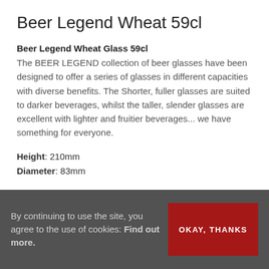Beer Legend Wheat 59cl
Beer Legend Wheat Glass 59cl
The BEER LEGEND collection of beer glasses have been designed to offer a series of glasses in different capacities with diverse benefits. The Shorter, fuller glasses are suited to darker beverages, whilst the taller, slender glasses are excellent with lighter and fruitier beverages... we have something for everyone.
Height: 210mm
Diameter: 83mm
SKU: L9944
Share this product on Social Media
By continuing to use the site, you agree to the use of cookies: Find out more.
OKAY, THANKS